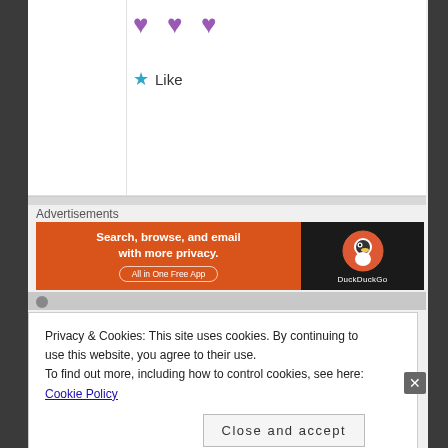[Figure (illustration): Three purple heart emoji icons in a row]
★ Like
Advertisements
[Figure (other): DuckDuckGo advertisement banner: 'Search, browse, and email with more privacy. All in One Free App' with DuckDuckGo logo on dark background]
Privacy & Cookies: This site uses cookies. By continuing to use this website, you agree to their use.
To find out more, including how to control cookies, see here: Cookie Policy
Close and accept